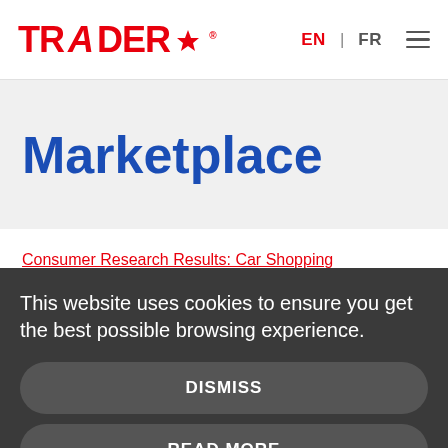TRADER EN | FR
Marketplace
Consumer Research Results: Car Shopping
This website uses cookies to ensure you get the best possible browsing experience.
DISMISS
READ MORE